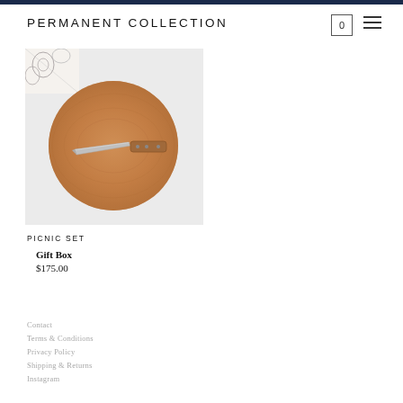PERMANENT COLLECTION
[Figure (photo): Round wooden cutting board with a small paring knife on top, photographed from above on a light gray background. A floral patterned cloth is visible in the upper left corner.]
PICNIC SET
Gift Box
$175.00
Contact
Terms & Conditions
Privacy Policy
Shipping & Returns
Instagram